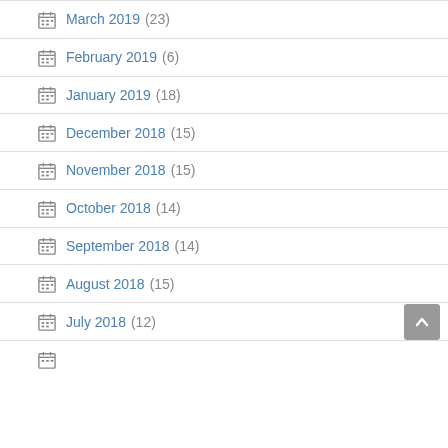March 2019 (23)
February 2019 (6)
January 2019 (18)
December 2018 (15)
November 2018 (15)
October 2018 (14)
September 2018 (14)
August 2018 (15)
July 2018 (12)